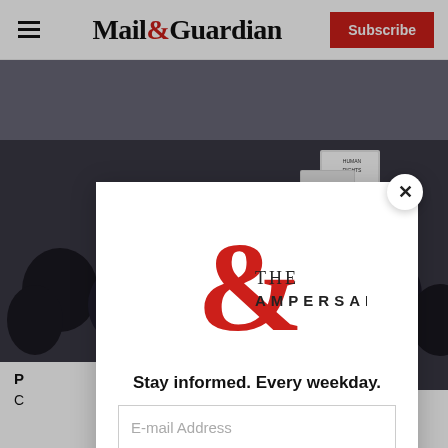Mail&Guardian | Subscribe
[Figure (photo): Crowd of protesters with signs at a demonstration, photo partially obscured by modal overlay]
P...
C...
[Figure (logo): The Ampersand logo — large red ampersand with serif text 'THE AMPERSAND']
Stay informed. Every weekday.
E-mail Address
Signup now